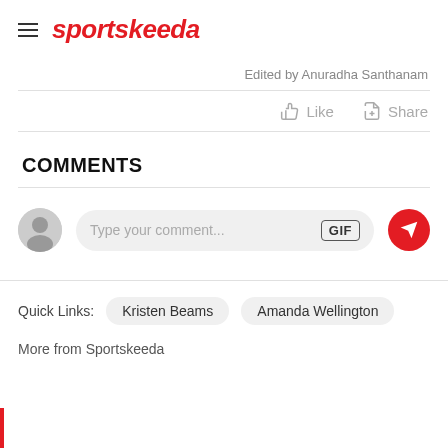sportskeeda
Edited by Anuradha Santhanam
Like  Share
COMMENTS
Type your comment...
Quick Links:  Kristen Beams  Amanda Wellington
More from Sportskeeda